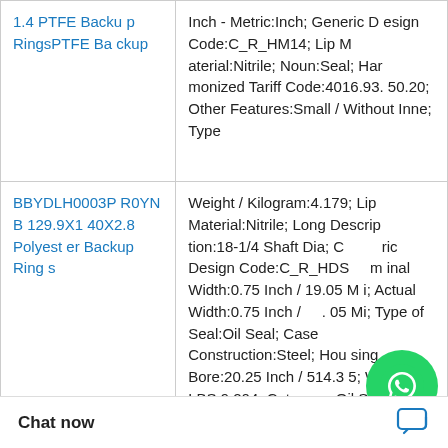| Product | Specifications |
| --- | --- |
| 1.4 PTFE Backup RingsPTFE Backup | Inch - Metric:Inch; Generic Design Code:C_R_HM14; Lip Material:Nitrile; Noun:Seal; Harmonized Tariff Code:4016.93.50.20; Other Features:Small / Without Inne; Type |
| BBYDLH0003PR0YN B 129.9X140X2.8 Polyester Backup Rings | Weight / Kilogram:4.179; Lip Material:Nitrile; Long Description:18-1/4 Shaft Dia; Generic Design Code:C_R_HDS; Nominal Width:0.75 Inch / 19.05 Mi; Actual Width:0.75 Inch / 19.05 Mi; Type of Seal:Oil Seal; Case Construction:Steel; Housing Bore:20.25 Inch / 514.35; Weight / LBS:9.204; Category:Oil Se |
|  | UNSPSC:31411705; Housing Bore / 196.85 M; Actual Width:0.625 Inch / 15.875; Long Description:... |
[Figure (illustration): WhatsApp Online green circle button overlay with WhatsApp logo and text 'WhatsApp Online']
Chat now